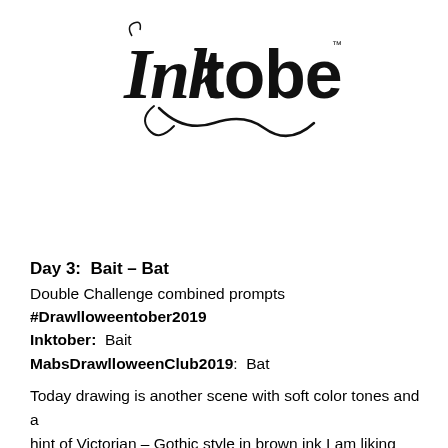[Figure (logo): Inktober stylized calligraphic logo in black ink, with decorative flourishes and swashes.]
Day 3:  Bait – Bat
Double Challenge combined prompts
#Drawlloweentober2019
Inktober:  Bait
MabsDrawlloweenClub2019:  Bat
Today drawing is another scene with soft color tones and a hint of Victorian – Gothic style in brown ink I am liking drawing the cl prompts are Bait or Bat and I wanted to